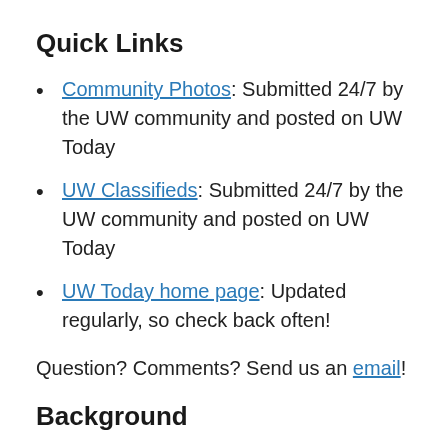Quick Links
Community Photos: Submitted 24/7 by the UW community and posted on UW Today
UW Classifieds: Submitted 24/7 by the UW community and posted on UW Today
UW Today home page: Updated regularly, so check back often!
Question? Comments? Send us an email!
Background
The UW Office of News & Information writes and disseminates news releases to reporters around the world and for nearly three decades  was